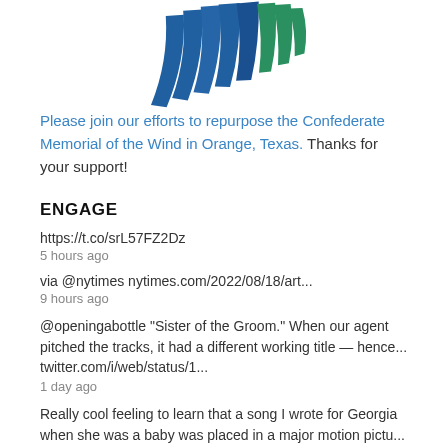[Figure (logo): Blue and green stylized logo mark at top center — diagonal stripes forming a fan/wave shape in blue and green]
Please join our efforts to repurpose the Confederate Memorial of the Wind in Orange, Texas. Thanks for your support!
ENGAGE
https://t.co/srL57FZ2Dz
5 hours ago
via @nytimes nytimes.com/2022/08/18/art...
9 hours ago
@openingabottle "Sister of the Groom." When our agent pitched the tracks, it had a different working title — hence... twitter.com/i/web/status/1...
1 day ago
Really cool feeling to learn that a song I wrote for Georgia when she was a baby was placed in a major motion pictu... twitter.com/i/web/status/1...